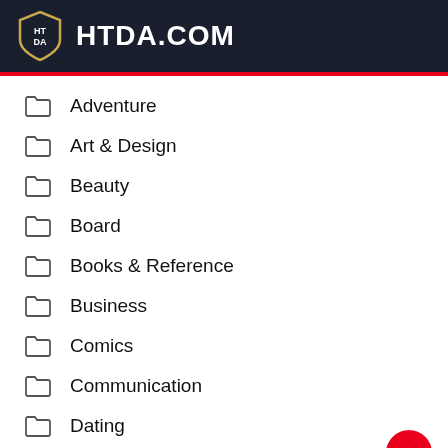HTDA.COM
Adventure
Art & Design
Beauty
Board
Books & Reference
Business
Comics
Communication
Dating
Education